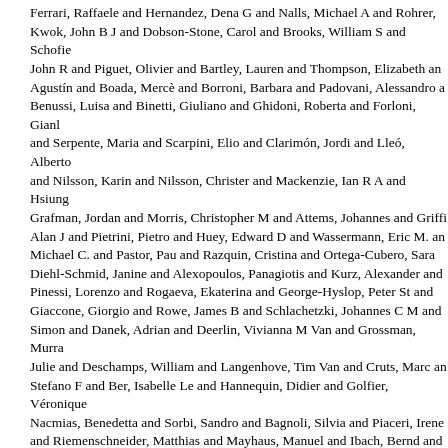Ferrari, Raffaele and Hernandez, Dena G and Nalls, Michael A and Rohrer, Kwok, John B J and Dobson-Stone, Carol and Brooks, William S and Schofie John R and Piguet, Olivier and Bartley, Lauren and Thompson, Elizabeth an Agustín and Boada, Mercè and Borroni, Barbara and Padovani, Alessandro Benussi, Luisa and Binetti, Giuliano and Ghidoni, Roberta and Forloni, Gianl and Serpente, Maria and Scarpini, Elio and Clarimón, Jordi and Lleó, Alberto and Nilsson, Karin and Nilsson, Christer and Mackenzie, Ian R A and Hsiung Grafman, Jordan and Morris, Christopher M and Attems, Johannes and Griff Alan J and Pietrini, Pietro and Huey, Edward D and Wassermann, Eric M. an Michael C. and Pastor, Pau and Razquin, Cristina and Ortega-Cubero, Sara Diehl-Schmid, Janine and Alexopoulos, Panagiotis and Kurz, Alexander and Pinessi, Lorenzo and Rogaeva, Ekaterina and George-Hyslop, Peter St and Giaccone, Giorgio and Rowe, James B and Schlachetzki, Johannes C M and Simon and Danek, Adrian and Deerlin, Vivianna M Van and Grossman, Murra Julie and Deschamps, William and Langenhove, Tim Van and Cruts, Marc an Stefano F and Ber, Isabelle Le and Hannequin, Didier and Golfier, Véronique Nacmias, Benedetta and Sorbi, Sandro and Bagnoli, Silvia and Piaceri, Irene and Riemenschneider, Matthias and Mayhaus, Manuel and Ibach, Bernd and Wei and Rossor, Martin N and Fox, Nick C and Warren, Jason D and Spillan Patrizia and Heutink, Peter and Snowden, Julie S and Rollinson, Sara and R Bruni, Amalia C and Maletta, Raffaele and Frangipane, Francesca and Cupid and Gallo, Maura and Conidi, Maria Elena and Smirne, Nicoletta and Radem Dennis W and Graff-Radford, Neill R. and Petersen, Ronald C and Knopman F and Parisi, Joseph E and Seeley, William W and Miller, Bruce L and Karyda John C and Dopper, Elise G P and Seelaar, Harro and Pijnenburg, Yolande A Giancarlo and Capozzo, Rosa and Novelli, Valeria and Puca, Annibale A and and Milan, Graziella and Sorrentino, Paolo and Kristiansen, Mark and Chiang Florence and Rollin, Adeline and Deramecourt, Vincent and Lebert, Florence and Pickering-Brown, Stuart and Singleton, Andrew B and Hardy, John and M its subtypes: a genome-wide association study. The Lancet Neurology, 13 (7